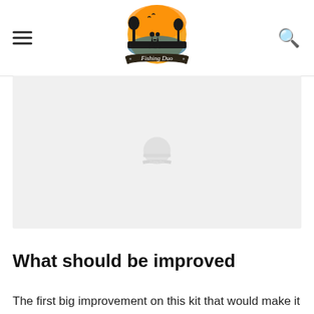Fishing Duo
[Figure (logo): Fishing Duo logo: circular badge with orange sunset background, silhouettes of two people holding hands by water, text 'Fishing Duo' on a dark banner below]
[Figure (photo): Large image placeholder (light gray background) showing a product photo area]
What should be improved
The first big improvement on this kit that would make it